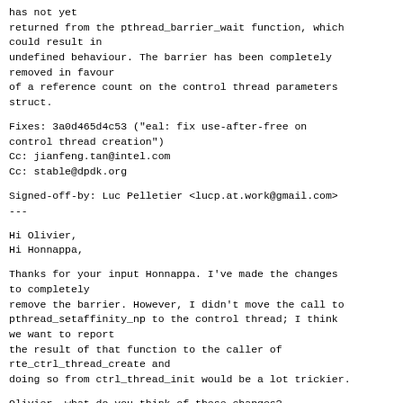has not yet
returned from the pthread_barrier_wait function, which
could result in
undefined behaviour. The barrier has been completely
removed in favour
of a reference count on the control thread parameters
struct.
Fixes: 3a0d465d4c53 ("eal: fix use-after-free on
control thread creation")
Cc: jianfeng.tan@intel.com
Cc: stable@dpdk.org
Signed-off-by: Luc Pelletier <lucp.at.work@gmail.com>
---
Hi Olivier,
Hi Honnappa,
Thanks for your input Honnappa. I've made the changes
to completely
remove the barrier. However, I didn't move the call to
pthread_setaffinity_np to the control thread; I think
we want to report
the result of that function to the caller of
rte_ctrl_thread_create and
doing so from ctrl_thread_init would be a lot trickier.
Olivier, what do you think of these changes?
lib/librte_eal/common/eal_common_thread.c | 25